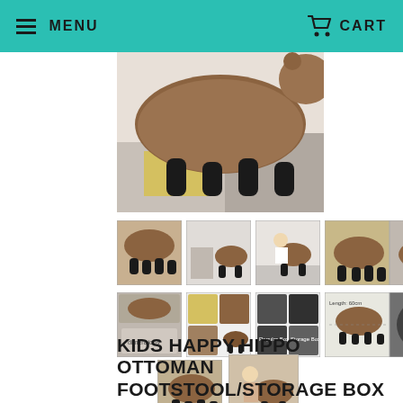MENU | CART
[Figure (photo): Main product image of Kids Happy Hippo Ottoman/Footstool, close-up view of hippo-shaped brown plush ottoman on colorful rug, showing black legs]
[Figure (photo): Thumbnail 1: Front view of brown hippo ottoman storage box]
[Figure (photo): Thumbnail 2: Side room view of hippo ottoman with chairs]
[Figure (photo): Thumbnail 3: Child sitting on hippo ottoman]
[Figure (photo): Thumbnail 4: Side view of hippo ottoman]
[Figure (photo): Thumbnail 5: Product collage with room view]
[Figure (photo): Thumbnail 6: Dimensions/features diagram]
[Figure (photo): Thumbnail 7: Color swatches yellow and brown]
[Figure (photo): Thumbnail 8: Fabric close-up swatches]
[Figure (photo): Thumbnail 9: Technical diagram with measurements]
[Figure (photo): Thumbnail 10: Side view dark brown hippo]
[Figure (photo): Thumbnail 11: Front view of hippo ottoman]
[Figure (photo): Thumbnail 12: Child sitting on hippo ottoman lifestyle shot]
KIDS HAPPY HIPPO OTTOMAN FOOTSTOOL/STORAGE BOX